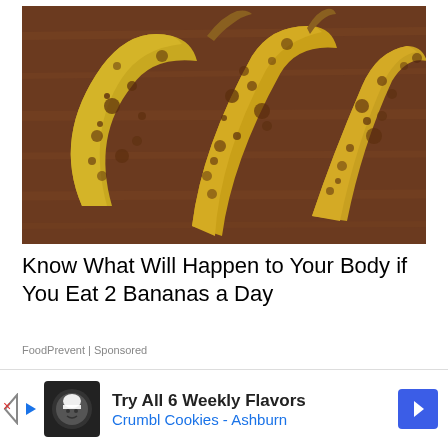[Figure (photo): Three overripe bananas with brown spots lying on a wooden surface]
Know What Will Happen to Your Body if You Eat 2 Bananas a Day
FoodPrevent | Sponsored
[Figure (photo): Partial view of a second article image, partially obscured by advertisement]
[Figure (infographic): Advertisement banner: Try All 6 Weekly Flavors Crumbl Cookies - Ashburn]